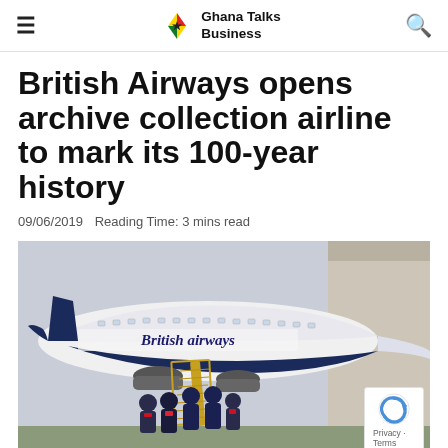Ghana Talks Business
British Airways opens archive collection airline to mark its 100-year history
09/06/2019  Reading Time: 3 mins read
[Figure (photo): British Airways retro-liveried Boeing 747 aircraft on the tarmac with crew members standing on the stairs in front of the plane]